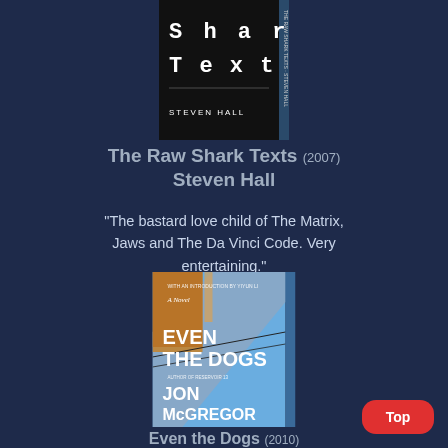[Figure (illustration): Book cover of 'The Raw Shark Texts' by Steven Hall (2007) — black cover with large white typewriter-style text reading 'Shark Texts' and 'STEVEN HALL' at the bottom, partially visible at the top of the page]
The Raw Shark Texts (2007) Steven Hall
"The bastard love child of The Matrix, Jaws and The Da Vinci Code. Very entertaining."
[Figure (illustration): Book cover of 'Even the Dogs' by Jon McGregor (2010) — blue/sky toned cover with large white bold text 'EVEN THE DOGS' and 'JON McGREGOR', with an urban/street scene in the background]
Even the Dogs (2010)